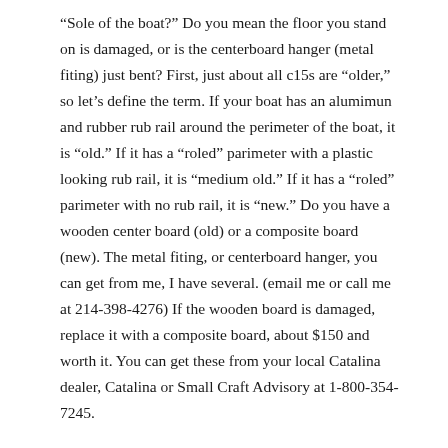“Sole of the boat?” Do you mean the floor you stand on is damaged, or is the centerboard hanger (metal fiting) just bent? First, just about all c15s are “older,” so let’s define the term. If your boat has an alumimun and rubber rub rail around the perimeter of the boat, it is “old.” If it has a “roled” parimeter with a plastic looking rub rail, it is “medium old.” If it has a “roled” parimeter with no rub rail, it is “new.” Do you have a wooden center board (old) or a composite board (new). The metal fiting, or centerboard hanger, you can get from me, I have several. (email me or call me at 214-398-4276) If the wooden board is damaged, replace it with a composite board, about $150 and worth it. You can get these from your local Catalina dealer, Catalina or Small Craft Advisory at 1-800-354-7245.